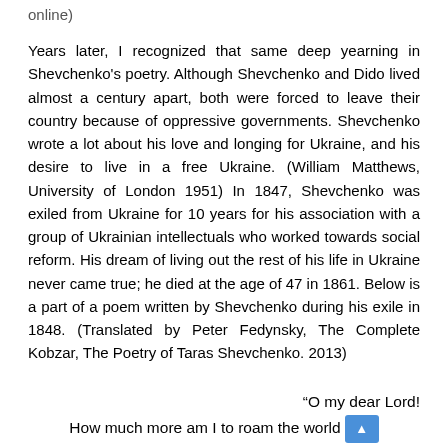online)
Years later, I recognized that same deep yearning in Shevchenko’s poetry. Although Shevchenko and Dido lived almost a century apart, both were forced to leave their country because of oppressive governments. Shevchenko wrote a lot about his love and longing for Ukraine, and his desire to live in a free Ukraine. (William Matthews, University of London 1951) In 1847, Shevchenko was exiled from Ukraine for 10 years for his association with a group of Ukrainian intellectuals who worked towards social reform. His dream of living out the rest of his life in Ukraine never came true; he died at the age of 47 in 1861. Below is a part of a poem written by Shevchenko during his exile in 1848. (Translated by Peter Fedynsky, The Complete Kobzar, The Poetry of Taras Shevchenko. 2013)
“O my dear Lord!
How much more am I to roam the world
Along this useless sea and this open jail?